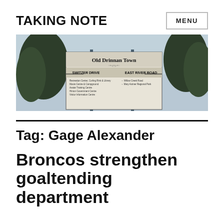TAKING NOTE
MENU
[Figure (photo): Street sign reading 'Old Drinnan Town' with Switzer Drive and East River Road directions and various listed destinations, with trees and sky in background]
Tag: Gage Alexander
Broncos strengthen goaltending department